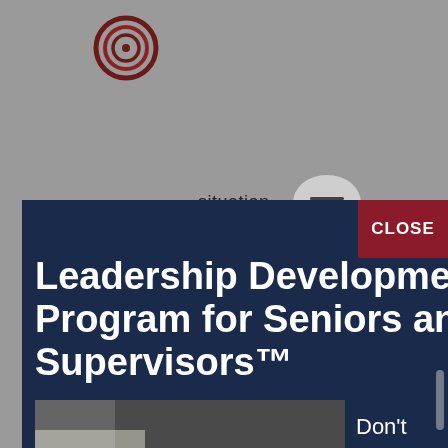[Figure (logo): Circular concentric rings logo in dark red/maroon color]
situation.
[Figure (illustration): Hamburger menu icon inside a light gray circle]
CLOSE
Leadership Development Program for Seniors and Supervisors™
[Figure (photo): Four young professionals standing together smiling in front of a whiteboard, one wearing a yellow jacket]
Don't miss out on